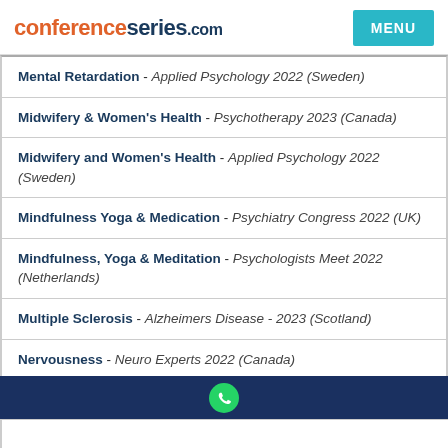conferenceseries.com
Mental Retardation - Applied Psychology 2022 (Sweden)
Midwifery & Women's Health - Psychotherapy 2023 (Canada)
Midwifery and Women's Health - Applied Psychology 2022 (Sweden)
Mindfulness Yoga & Medication - Psychiatry Congress 2022 (UK)
Mindfulness, Yoga & Meditation - Psychologists Meet 2022 (Netherlands)
Multiple Sclerosis - Alzheimers Disease - 2023 (Scotland)
Nervousness - Neuro Experts 2022 (Canada)